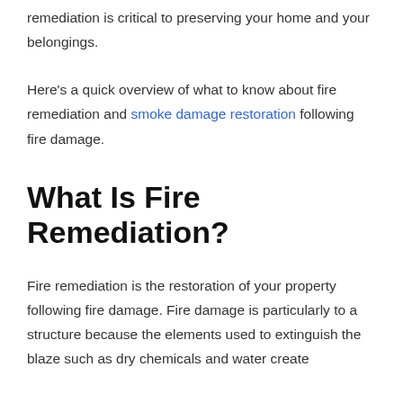remediation is critical to preserving your home and your belongings.
Here's a quick overview of what to know about fire remediation and smoke damage restoration following fire damage.
What Is Fire Remediation?
Fire remediation is the restoration of your property following fire damage. Fire damage is particularly to a structure because the elements used to extinguish the blaze such as dry chemicals and water create